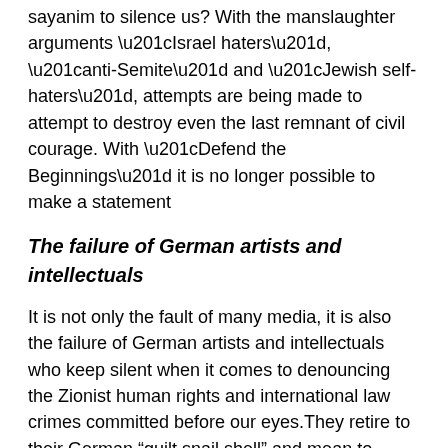sayanim to silence us? With the manslaughter arguments “Israel haters”, “anti-Semite” and “Jewish self-haters”, attempts are being made to attempt to destroy even the last remnant of civil courage. With “Defend the Beginnings” it is no longer possible to make a statement
The failure of German artists and intellectuals
It is not only the fault of many media, it is also the failure of German artists and intellectuals who keep silent when it comes to denouncing the Zionist human rights and international law crimes committed before our eyes.They retire to their German “guilt snail shell” and mean to make up for German guilt. What a foolish and dangerous idea, in which the elite of German society presents itself as a bad example. The same “masterminds” who are immediately there when it comes to denouncing Russia, China or Turkey remain silent when it comes to the crimes of the